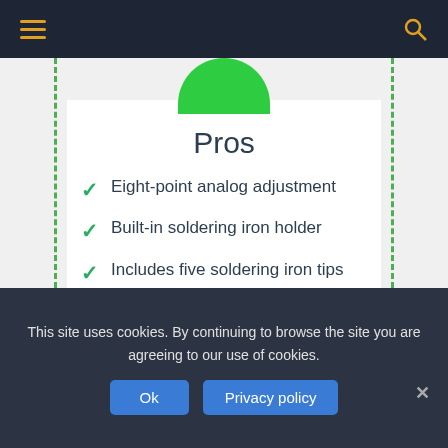Navigation bar with menu and search icons
Pros
Eight-point analog adjustment
Built-in soldering iron holder
Includes five soldering iron tips
Brass tip cleaner included
Cleaning sponge and holder
Heats up fast and maintains
This site uses cookies. By continuing to browse the site you are agreeing to our use of cookies.
Ok   Privacy policy